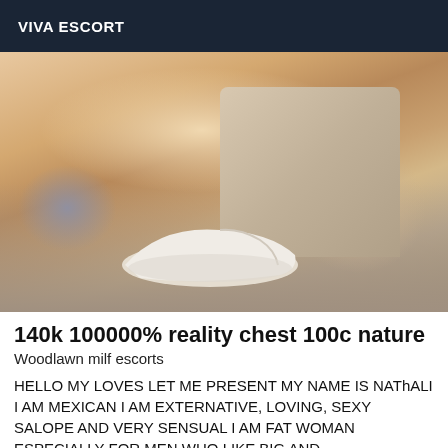VIVA ESCORT
[Figure (photo): Close-up photo showing a person's body and a white shoe/sandal against a light background]
140k 100000% reality chest 100c nature
Woodlawn milf escorts
HELLO MY LOVES LET ME PRESENT MY NAME IS NAThALI I AM MEXICAN I AM EXTERNATIVE, LOVING, SEXY SALOPE AND VERY SENSUAL I AM FAT WOMAN ESPECIALLY FOR MEN WHO LIKE BIG AND